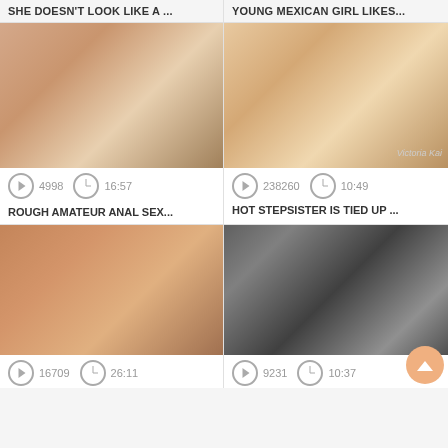SHE DOESN'T LOOK LIKE A ...
YOUNG MEXICAN GIRL LIKES...
[Figure (photo): Adult video thumbnail placeholder - warm tones]
4998   16:57
ROUGH AMATEUR ANAL SEX...
[Figure (photo): Adult video thumbnail placeholder - warm tones, watermark Victoria Kai]
238260   10:49
HOT STEPSISTER IS TIED UP ...
[Figure (photo): Adult video thumbnail placeholder - warm orange tones]
16709   26:11
[Figure (photo): Adult video thumbnail placeholder - dark tones]
9231   10:37